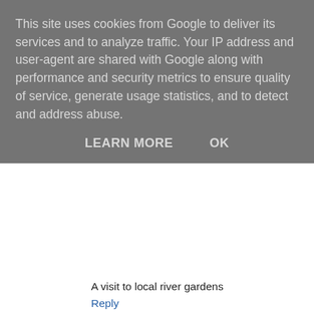This site uses cookies from Google to deliver its services and to analyze traffic. Your IP address and user-agent are shared with Google along with performance and security metrics to ensure quality of service, generate usage statistics, and to detect and address abuse.
LEARN MORE    OK
A visit to local river gardens
Reply
Caroline Tinsley  4 August 2020 at 03:00
I've got a family of magpies visiting my garden. The babies are so cute and fun to watch.
Reply
Jane Willis  4 August 2020 at 22:15
a lovely lunch in the sunny garden of my local farm shop - for a couple of hours it almost felt as if life was back to